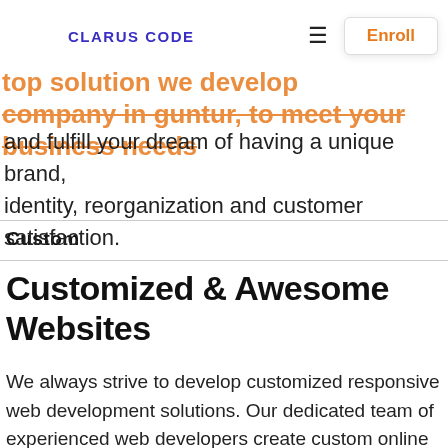CLARUS CODE | Enroll
development, marketing and advertising. top solution we develop in guntur, to meet your business needs and fulfill your dream of having a unique brand, identity, reorganization and customer satisfaction.
Custom
Customized & Awesome Websites
We always strive to develop customized responsive web development solutions. Our dedicated team of experienced web developers create custom online solutions by focusing on the specific needs and goals of our clients. Our